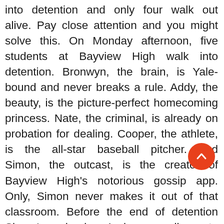into detention and only four walk out alive. Pay close attention and you might solve this. On Monday afternoon, five students at Bayview High walk into detention. Bronwyn, the brain, is Yale-bound and never breaks a rule. Addy, the beauty, is the picture-perfect homecoming princess. Nate, the criminal, is already on probation for dealing. Cooper, the athlete, is the all-star baseball pitcher. And Simon, the outcast, is the creator of Bayview High's notorious gossip app. Only, Simon never makes it out of that classroom. Before the end of detention Simon's dead. And according to investigators, his death wasn't an accident. On Monday, he died. But on Tuesday, he'd planned to post juicy reveals about four of his high-profile classmates, which makes all four of them suspects in his murder. Or are they the perfect patsies for a killer who's still on the loose? Everyone has secrets, right? What really matters is how far you would